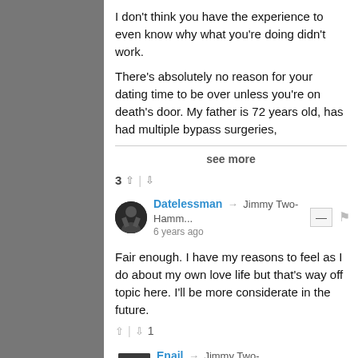I don't think you have the experience to even know why what you're doing didn't work.
There's absolutely no reason for your dating time to be over unless you're on death's door. My father is 72 years old, has had multiple bypass surgeries,
see more
3
Datelessman → Jimmy Two-Hamm... 6 years ago
Fair enough. I have my reasons to feel as I do about my own love life but that's way off topic here. I'll be more considerate in the future.
1
Enail → Jimmy Two-Hammers 6 years ago
Except for the comments about teasing, it doesn't seem like he's critiquing anything in the article so much as adding on a suggestions (cater to your